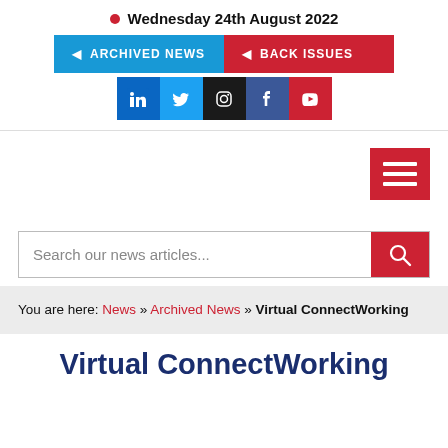Wednesday 24th August 2022
ARCHIVED NEWS | BACK ISSUES
[Figure (other): Social media icons row: LinkedIn, Twitter, Instagram, Facebook, YouTube]
[Figure (other): Hamburger/menu button (three horizontal white lines on red background)]
Search our news articles...
You are here: News » Archived News » Virtual ConnectWorking
Virtual ConnectWorking